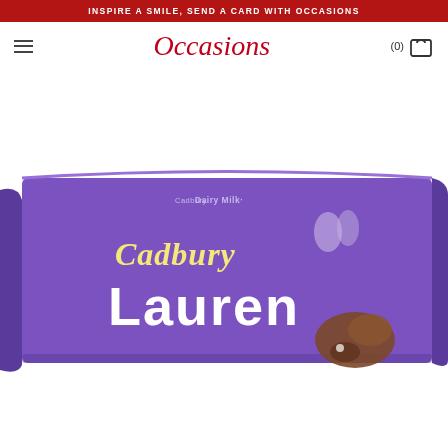INSPIRE A SMILE, SEND A CARD WITH OCCASIONS
[Figure (logo): Occasions logo in red cursive script]
[Figure (photo): Cadbury Dairy Milk chocolate bar with personalised name 'Lauren' on purple wrapper]